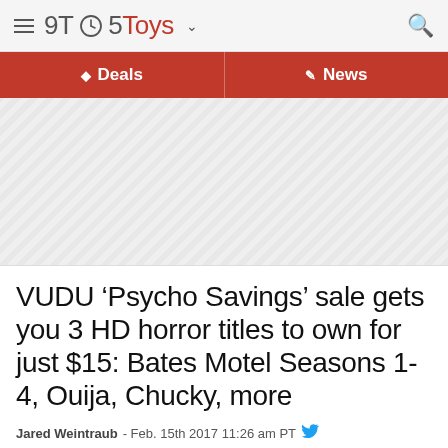9TO5Toys
Deals | News
[Figure (other): Diagonal striped gray advertisement placeholder area]
VUDU ‘Psycho Savings’ sale gets you 3 HD horror titles to own for just $15: Bates Motel Seasons 1-4, Ouija, Chucky, more
Jared Weintraub - Feb. 15th 2017 11:26 am PT @Jared_Weintraub